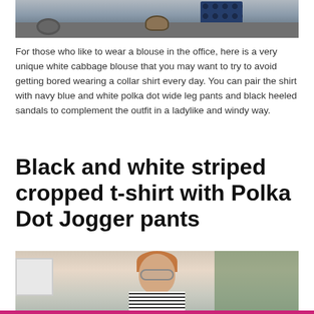[Figure (photo): Partial photo showing polka dot wide leg pants and black heeled sandals on pavement, with a manhole visible]
For those who like to wear a blouse in the office, here is a very unique white cabbage blouse that you may want to try to avoid getting bored wearing a collar shirt every day. You can pair the shirt with navy blue and white polka dot wide leg pants and black heeled sandals to complement the outfit in a ladylike and windy way.
Black and white striped cropped t-shirt with Polka Dot Jogger pants
[Figure (photo): Woman with red/auburn hair wearing sunglasses and a black and white striped cropped t-shirt, photographed outdoors with green foliage in background]